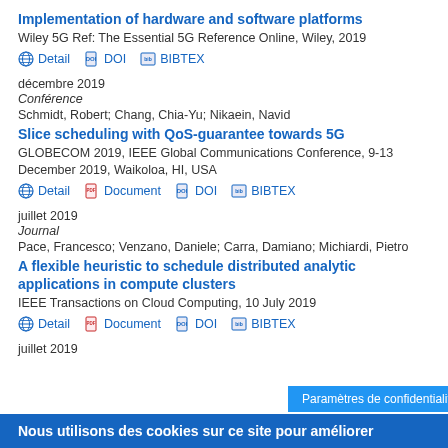Implementation of hardware and software platforms
Wiley 5G Ref: The Essential 5G Reference Online, Wiley, 2019
Detail  DOI  BIBTEX
décembre 2019
Conférence
Schmidt, Robert; Chang, Chia-Yu; Nikaein, Navid
Slice scheduling with QoS-guarantee towards 5G
GLOBECOM 2019, IEEE Global Communications Conference, 9-13 December 2019, Waikoloa, HI, USA
Detail  Document  DOI  BIBTEX
juillet 2019
Journal
Pace, Francesco; Venzano, Daniele; Carra, Damiano; Michiardi, Pietro
A flexible heuristic to schedule distributed analytic applications in compute clusters
IEEE Transactions on Cloud Computing, 10 July 2019
Detail  Document  DOI  BIBTEX
juillet 2019
Nous utilisons des cookies sur ce site pour améliorer